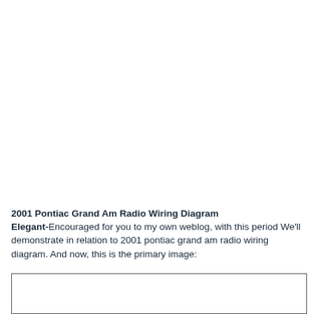2001 Pontiac Grand Am Radio Wiring Diagram
Elegant-Encouraged for you to my own weblog, with this period We'll demonstrate in relation to 2001 pontiac grand am radio wiring diagram. And now, this is the primary image:
[Figure (schematic): Partial view of a wiring diagram image box, cut off at the bottom of the page]